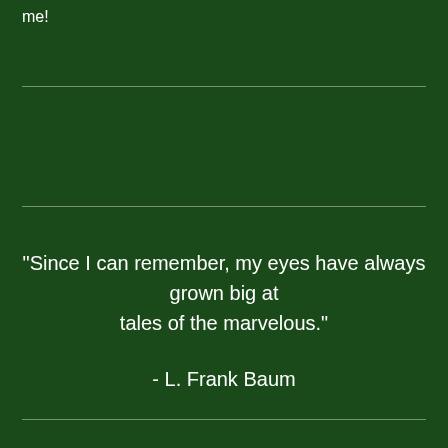me!
"Since I can remember, my eyes have always grown big at tales of the marvelous."
- L. Frank Baum